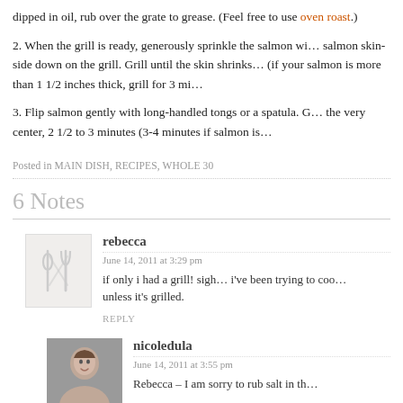dipped in oil, rub over the grate to grease. (Feel free to use oven roast.)
2. When the grill is ready, generously sprinkle the salmon wi… salmon skin-side down on the grill. Grill until the skin shrinks… (if your salmon is more than 1 1/2 inches thick, grill for 3 mi…
3. Flip salmon gently with long-handled tongs or a spatula. G… the very center, 2 1/2 to 3 minutes (3-4 minutes if salmon is…
Posted in MAIN DISH, RECIPES, WHOLE 30
6 Notes
rebecca
June 14, 2011 at 3:29 pm
if only i had a grill! sigh… i've been trying to coo… unless it's grilled.
REPLY
nicoledula
June 14, 2011 at 3:55 pm
Rebecca – I am sorry to rub salt in th…